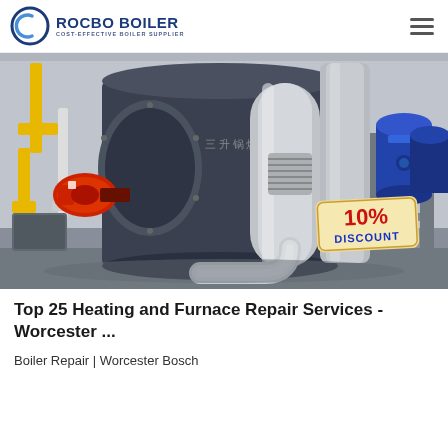ROCBO BOILER — COST-EFFECTIVE BOILER SUPPLIER
[Figure (photo): Industrial boiler equipment in a warehouse setting, showing a large cylindrical boiler with red burner, stainless steel piping and insulation, yellow gas pipes, and blue pressure tanks in the background. A '10% DISCOUNT' badge is overlaid in the bottom-right corner.]
Top 25 Heating and Furnace Repair Services - Worcester ...
Boiler Repair | Worcester Bosch